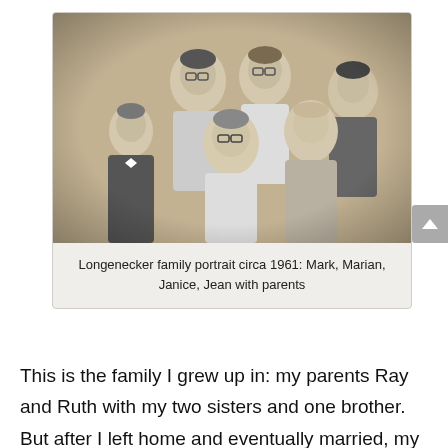[Figure (photo): Black and white family portrait photograph circa 1961 showing six people: three young people in the back row (Mark, Marian, and one more), a boy on the left, and parents seated/standing in front including Jean. The photo has a vintage sepia-toned quality with a light border.]
Longenecker family portrait circa 1961: Mark, Marian, Janice, Jean with parents
This is the family I grew up in: my parents Ray and Ruth with my two sisters and one brother. But after I left home and eventually married, my parents had